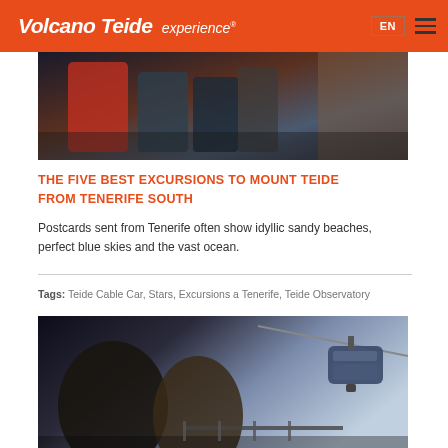Volcano Teide experience® EN ☰
[Figure (photo): Group of people on a mountain viewpoint, one wearing a red jacket]
THE FIVE BEST EXCURSIONS TO MOUNT TEIDE FROM TENERIFE SOUTH
Postcards sent from Tenerife often show idyllic sandy beaches, perfect blue skies and the vast ocean.
Tags: Teide Cable Car, Stars, Excursions a Tenerife, Teide Observatory
[Figure (photo): Couple smiling together outdoors with a cable car gondola in the background against a blue sky]
TEIDE TOURS FROM PUERTO DE LA CRUZ: OPTIONS AND